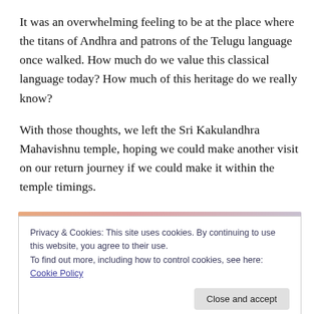It was an overwhelming feeling to be at the place where the titans of Andhra and patrons of the Telugu language once walked. How much do we value this classical language today? How much of this heritage do we really know?
With those thoughts, we left the Sri Kakulandhra Mahavishnu temple, hoping we could make another visit on our return journey if we could make it within the temple timings.
Privacy & Cookies: This site uses cookies. By continuing to use this website, you agree to their use.
To find out more, including how to control cookies, see here: Cookie Policy
Close and accept